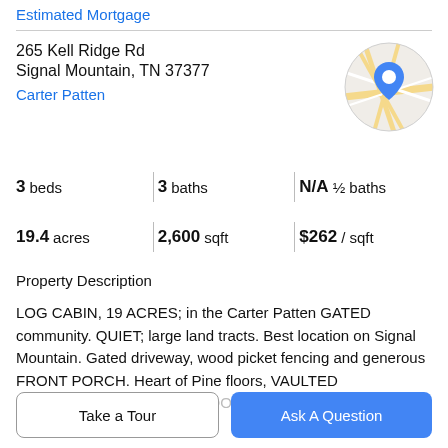Estimated Mortgage
265 Kell Ridge Rd
Signal Mountain, TN 37377
Carter Patten
[Figure (map): Circular map thumbnail with a blue location pin marker showing road map of area]
3 beds   3 baths   N/A ½ baths
19.4 acres   2,600 sqft   $262 / sqft
Property Description
LOG CABIN, 19 ACRES; in the Carter Patten GATED community. QUIET; large land tracts. Best location on Signal Mountain. Gated driveway, wood picket fencing and generous FRONT PORCH. Heart of Pine floors, VAULTED CEILINGS, and an OPEN FLOOR PLAN/living room with
Take a Tour
Ask A Question